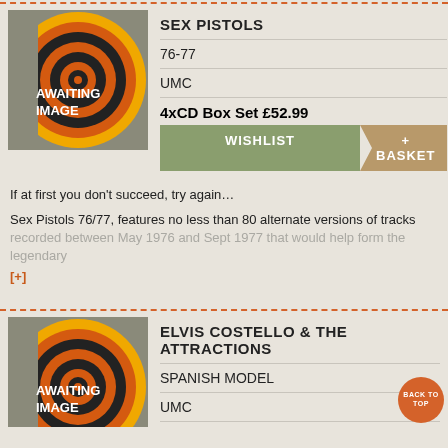[Figure (illustration): Album artwork placeholder with concentric circles in orange, black and yellow on grey background, text AWAITING IMAGE]
SEX PISTOLS
76-77
UMC
4xCD Box Set £52.99
WISHLIST
+ BASKET
If at first you don't succeed, try again…
Sex Pistols 76/77, features no less than 80 alternate versions of tracks
recorded between May 1976 and Sept 1977 that would help form the legendary
[+]
[Figure (illustration): Album artwork placeholder with concentric circles in orange, black and yellow on grey background, text AWAITING IMAGE]
ELVIS COSTELLO & THE ATTRACTIONS
SPANISH MODEL
UMC